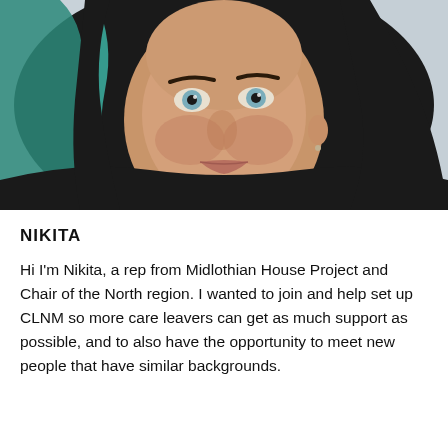[Figure (photo): Close-up selfie photo of a young woman with long dark hair with teal/blue highlights, blue-grey eyes, wearing dark clothing, photographed against a light-coloured wall/background.]
NIKITA
Hi I'm Nikita, a rep from Midlothian House Project and Chair of the North region. I wanted to join and help set up CLNM so more care leavers can get as much support as possible, and to also have the opportunity to meet new people that have similar backgrounds.